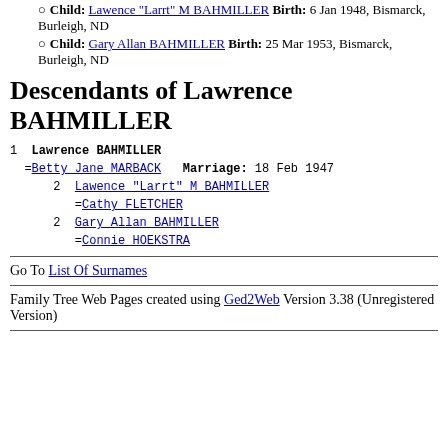Child: Lawence "Larrt" M BAHMILLER Birth: 6 Jan 1948, Bismarck, Burleigh, ND
Child: Gary Allan BAHMILLER Birth: 25 Mar 1953, Bismarck, Burleigh, ND
Descendants of Lawrence BAHMILLER
1  Lawrence BAHMILLER
  =Betty Jane MARBACK  Marriage: 18 Feb 1947
    2  Lawence "Larrt" M BAHMILLER
       =Cathy FLETCHER
    2  Gary Allan BAHMILLER
       =Connie HOEKSTRA
Go To List Of Surnames
Family Tree Web Pages created using Ged2Web Version 3.38 (Unregistered Version)